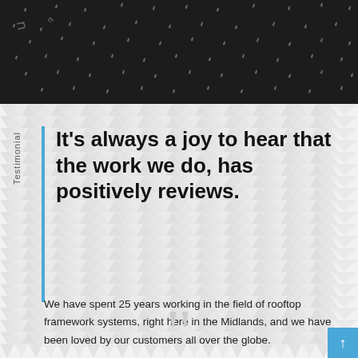[Figure (photo): Dark background banner with repeating quotation mark pattern in gray/white on black background]
Testimonial
It’s always a joy to hear that the work we do, has positively reviews.
We have spent 25 years working in the field of rooftop framework systems, right here in the Midlands, and we have been loved by our customers all over the globe.